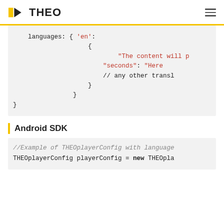THEO
[Figure (logo): THEOplayer logo with yellow play icon and THEO text]
languages: { 'en':
                    {
                            "The content will p
                        "seconds": "Here
                        // any other transl
                    }
                }
}
Android SDK
//Example of THEOplayerConfig with language
THEOplayerConfig playerConfig = new THEOpla